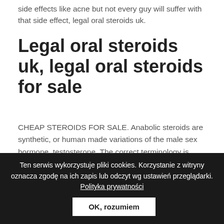side effects like acne but not every guy will suffer with that side effect, legal oral steroids uk.
Legal oral steroids uk, legal oral steroids for sale
CHEAP STEROIDS FOR SALE. Anabolic steroids are synthetic, or human made variations of the male sex hormone, testosterone. The correct terminology is anabolic-androgenic steroids. Anabolic refers to muscle building and androgenic refers to increased male sex characteristics. The main
Ten serwis wykorzystuje pliki cookies. Korzystanie z witryny oznacza zgodę na ich zapis lub odczyt wg ustawień przeglądarki. Polityka prywatności
OK, rozumiem